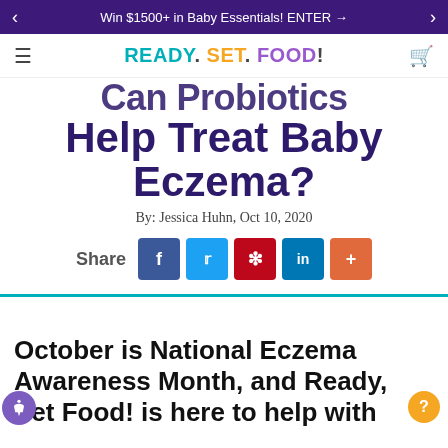Win $1500+ in Baby Essentials! ENTER →
[Figure (logo): READY. SET. FOOD! logo in teal, orange, and purple]
Can Probiotics Help Treat Baby Eczema?
By: Jessica Huhn, Oct 10, 2020
Share
October is National Eczema Awareness Month, and Ready, Set Food! is here to help with